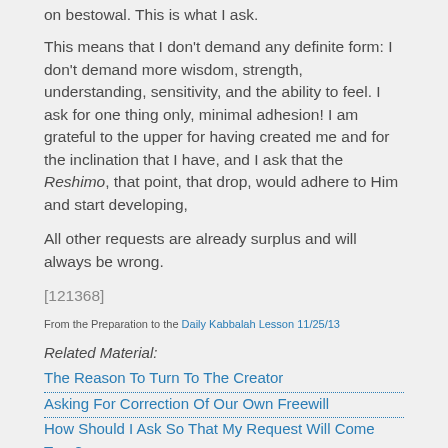on bestowal. This is what I ask.
This means that I don't demand any definite form: I don't demand more wisdom, strength, understanding, sensitivity, and the ability to feel. I ask for one thing only, minimal adhesion! I am grateful to the upper for having created me and for the inclination that I have, and I ask that the Reshimo, that point, that drop, would adhere to Him and start developing,
All other requests are already surplus and will always be wrong.
[121368]
From the Preparation to the Daily Kabbalah Lesson 11/25/13
Related Material:
The Reason To Turn To The Creator
Asking For Correction Of Our Own Freewill
How Should I Ask So That My Request Will Come True?